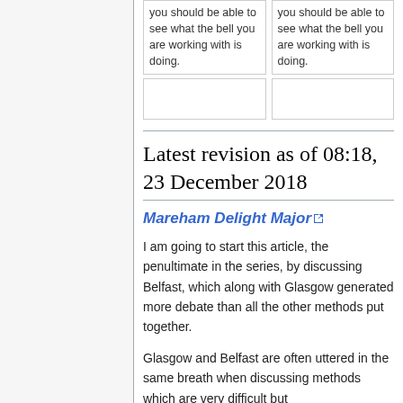| you should be able to see what the bell you are working with is doing. | you should be able to see what the bell you are working with is doing. |
|  |  |
Latest revision as of 08:18, 23 December 2018
Mareham Delight Major
I am going to start this article, the penultimate in the series, by discussing Belfast, which along with Glasgow generated more debate than all the other methods put together.
Glasgow and Belfast are often uttered in the same breath when discussing methods which are very difficult but